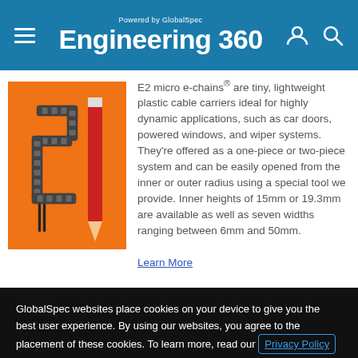Powered by GlobalSpec Engineering 360
[Figure (photo): Tiny plastic cable carrier (E2 micro e-chain) shown next to a red pencil on an orange background, illustrating its small size]
E2 micro e-chains® are tiny, lightweight plastic cable carriers ideal for highly dynamic applications, such as car doors, powered windows, and wiper systems. They're offered as a one-piece or two-piece system and can be easily opened from the inner or outer radius using a special tool we provide. Inner heights of 15mm or 19.3mm are available as well as seven widths ranging between 6mm and 50mm.
Learn More
GlobalSpec websites place cookies on your device to give you the best user experience. By using our websites, you agree to the placement of these cookies. To learn more, read our Privacy Policy
Accept & Close